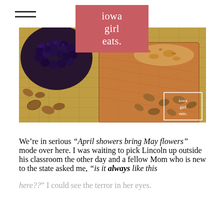iowa girl eats.
[Figure (photo): Close-up food photo showing blackberries and nuts/pecans on burlap with a wooden cutting board, with an 'iowa girl eats.' watermark in the bottom right corner.]
We’re in serious “April showers bring May flowers” mode over here. I was waiting to pick Lincoln up outside his classroom the other day and a fellow Mom who is new to the state asked me, “is it always like this here??” I could see the terror in her eyes. The text continues...